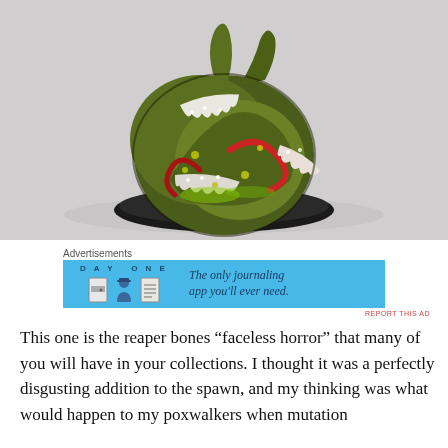[Figure (photo): Painted Warhammer/tabletop miniature figure — a grotesque creature known as 'faceless horror' with tentacles, teeth, green and red detailing, mounted on a black round base, photographed against a light grey background.]
Advertisements
[Figure (other): Day One journaling app advertisement banner. Light blue background with DAY ONE logo and three icons (door, person with hat, notepad), text reads: The only journaling app you'll ever need.]
REPORT THIS AD
This one is the reaper bones “faceless horror” that many of you will have in your collections. I thought it was a perfectly disgusting addition to the spawn, and my thinking was what would happen to my poxwalkers when mutation